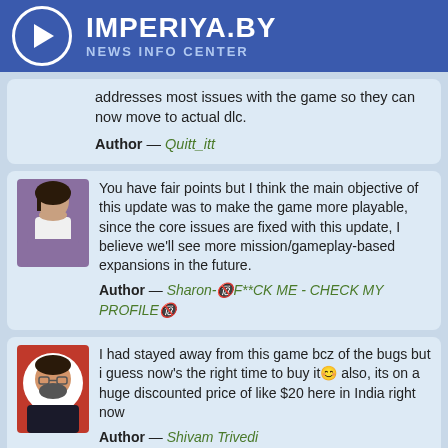IMPERIYA.BY NEWS INFO CENTER
addresses most issues with the game so they can now move to actual dlc.
Author — Quitt_itt
You have fair points but I think the main objective of this update was to make the game more playable, since the core issues are fixed with this update, I believe we'll see more mission/gameplay-based expansions in the future.
Author — Sharon-🔞F**CK ME - CHECK MY PROFILE🔞
I had stayed away from this game bcz of the bugs but i guess now's the right time to buy it😊 also, its on a huge discounted price of like $20 here in India right now
Author — Shivam Trivedi